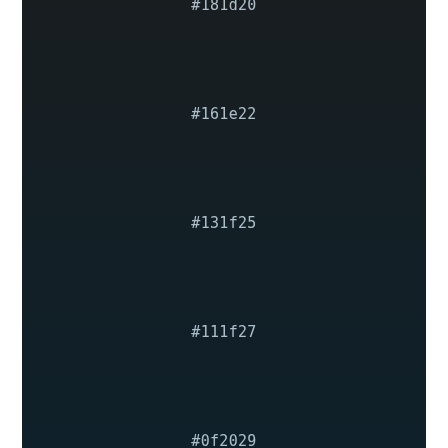#181d20
#161e22
#131f25
#111f27
#0f2029
#0d212b
#0b222d
#09222f
#062332